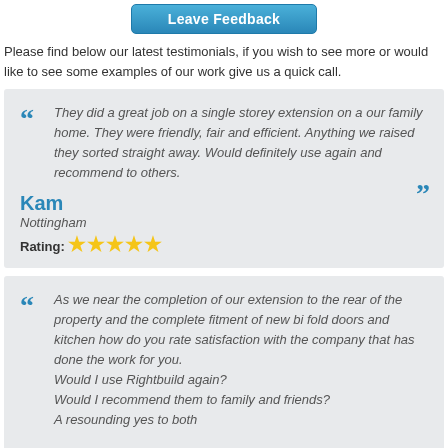[Figure (other): Leave Feedback button in blue gradient style]
Please find below our latest testimonials, if you wish to see more or would like to see some examples of our work give us a quick call.
They did a great job on a single storey extension on a our family home. They were friendly, fair and efficient. Anything we raised they sorted straight away. Would definitely use again and recommend to others.
Kam
Nottingham
Rating: ★★★★★
As we near the completion of our extension to the rear of the property and the complete fitment of new bi fold doors and kitchen how do you rate satisfaction with the company that has done the work for you.
Would I use Rightbuild again?
Would I recommend them to family and friends?
A resounding yes to both